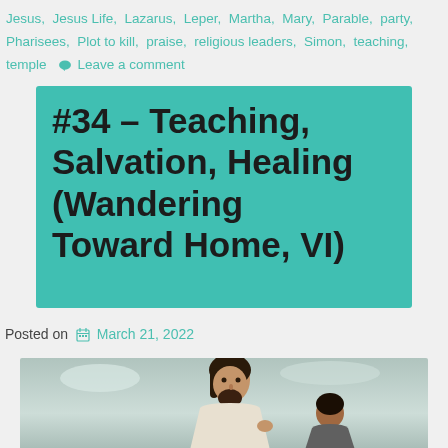Jesus, Jesus Life, Lazarus, Leper, Martha, Mary, Parable, party, Pharisees, Plot to kill, praise, religious leaders, Simon, teaching, temple   Leave a comment
#34 – Teaching, Salvation, Healing (Wandering Toward Home, VI)
Posted on  March 21, 2022
[Figure (illustration): Illustration of Jesus (dark-haired bearded man in robes) with another figure, painted/drawn style with muted sky background]